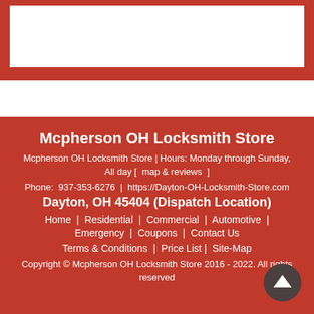Mcpherson OH Locksmith Store
Mcpherson OH Locksmith Store | Hours: Monday through Sunday, All day [  map & reviews  ]
Phone:  937-353-6276  |  https://Dayton-OH-Locksmith-Store.com
Dayton, OH 45404 (Dispatch Location)
Home  |  Residential  |  Commercial  |  Automotive  |  Emergency  |  Coupons  |  Contact Us
Terms & Conditions  |  Price List |  Site-Map
Copyright © Mcpherson OH Locksmith Store 2016 - 2022. All rights reserved